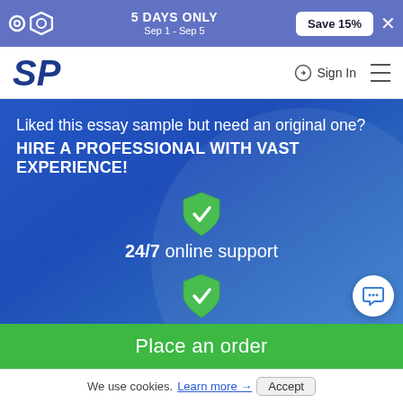5 DAYS ONLY Sep 1 - Sep 5  Save 15%
[Figure (logo): SP logo in dark blue italic bold text]
Sign In
Liked this essay sample but need an original one?
HIRE A PROFESSIONAL WITH VAST EXPERIENCE!
[Figure (illustration): Green shield with white checkmark]
24/7 online support
[Figure (illustration): Green shield with white checkmark]
NO plagiarism
Place an order
We use cookies. Learn more → Accept